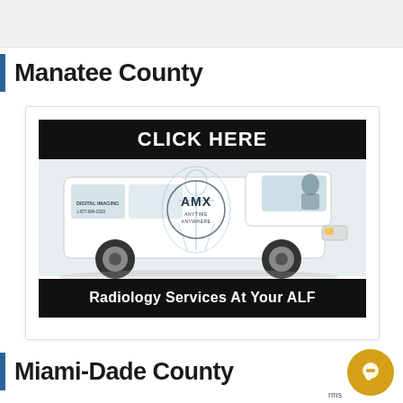Manatee County
[Figure (illustration): AMX mobile radiology van advertisement with black banner saying CLICK HERE at top, white minivan with X-ray graphic and AMX logo, and black banner saying Radiology Services At Your ALF at bottom]
Miami-Dade County